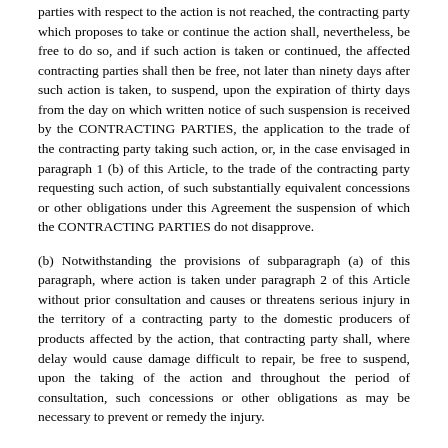parties with respect to the action is not reached, the contracting party which proposes to take or continue the action shall, nevertheless, be free to do so, and if such action is taken or continued, the affected contracting parties shall then be free, not later than ninety days after such action is taken, to suspend, upon the expiration of thirty days from the day on which written notice of such suspension is received by the CONTRACTING PARTIES, the application to the trade of the contracting party taking such action, or, in the case envisaged in paragraph 1 (b) of this Article, to the trade of the contracting party requesting such action, of such substantially equivalent concessions or other obligations under this Agreement the suspension of which the CONTRACTING PARTIES do not disapprove.
(b) Notwithstanding the provisions of subparagraph (a) of this paragraph, where action is taken under paragraph 2 of this Article without prior consultation and causes or threatens serious injury in the territory of a contracting party to the domestic producers of products affected by the action, that contracting party shall, where delay would cause damage difficult to repair, be free to suspend, upon the taking of the action and throughout the period of consultation, such concessions or other obligations as may be necessary to prevent or remedy the injury.